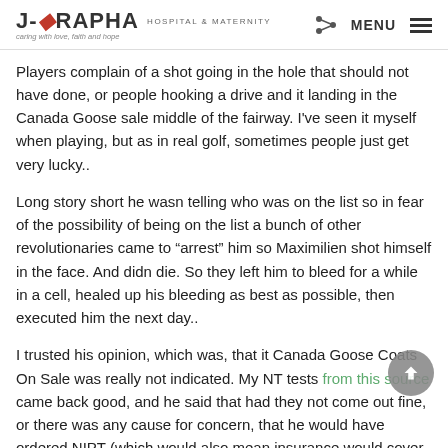J-RAPHA HOSPITAL & MATERNITY | MENU
Players complain of a shot going in the hole that should not have done, or people hooking a drive and it landing in the Canada Goose sale middle of the fairway. I've seen it myself when playing, but as in real golf, sometimes people just get very lucky..
Long story short he wasn telling who was on the list so in fear of the possibility of being on the list a bunch of other revolutionaries came to “arrest” him so Maximilien shot himself in the face. And didn die. So they left him to bleed for a while in a cell, healed up his bleeding as best as possible, then executed him the next day..
I trusted his opinion, which was, that it Canada Goose Coats On Sale was really not indicated. My NT tests from this source came back good, and he said that had they not come out fine, or there was any cause for concern, that he would have ordered NIPT (which would also mean insurance would cover it). I thought NIPT was pretty much mandatory after reading all the